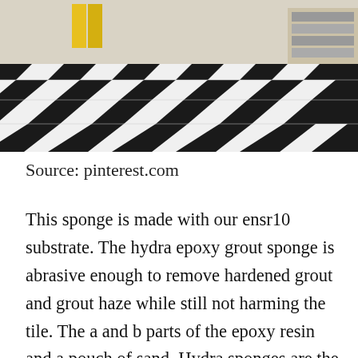[Figure (photo): Black and white checkerboard tile floor photographed from an angle, with yellow and other objects visible in the background.]
Source: pinterest.com
This sponge is made with our ensr10 substrate. The hydra epoxy grout sponge is abrasive enough to remove hardened grout and grout haze while still not harming the tile. The a and b parts of the epoxy resin and a pouch of sand. Hydra sponges are the very best polyester sponges on the market. It